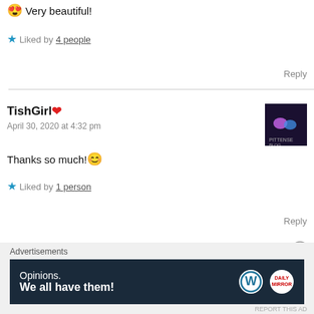😍 Very beautiful!
⭐ Liked by 4 people
Reply
TishGirl❤️
April 30, 2020 at 4:32 pm
Thanks so much! 😊
⭐ Liked by 1 person
Reply
[Figure (screenshot): Dark navy advertisement banner for WordPress with text 'Opinions. We all have them!' and WordPress and Daily Mirror logos.]
Advertisements
REPORT THIS AD